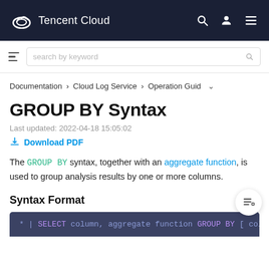Tencent Cloud
search by keyword
Documentation > Cloud Log Service > Operation Guide
GROUP BY Syntax
Last updated: 2022-04-18 15:05:02
Download PDF
The GROUP BY syntax, together with an aggregate function, is used to group analysis results by one or more columns.
Syntax Format
* | SELECT column, aggregate function GROUP BY [ colu